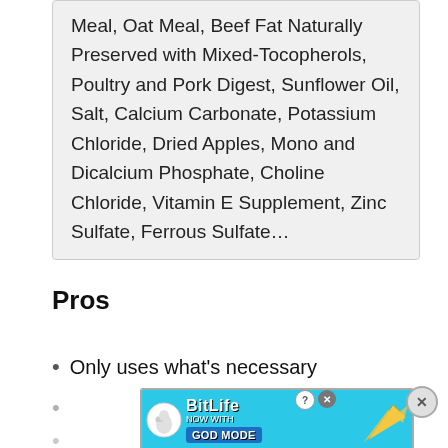Meal, Oat Meal, Beef Fat Naturally Preserved with Mixed-Tocopherols, Poultry and Pork Digest, Sunflower Oil, Salt, Calcium Carbonate, Potassium Chloride, Dried Apples, Mono and Dicalcium Phosphate, Choline Chloride, Vitamin E Supplement, Zinc Sulfate, Ferrous Sulfate…
Pros
Only uses what's necessary
[Figure (screenshot): BitLife advertisement banner with cyan background showing 'NOW WITH GOD MODE' text and a hand pointing finger graphic, with close buttons]